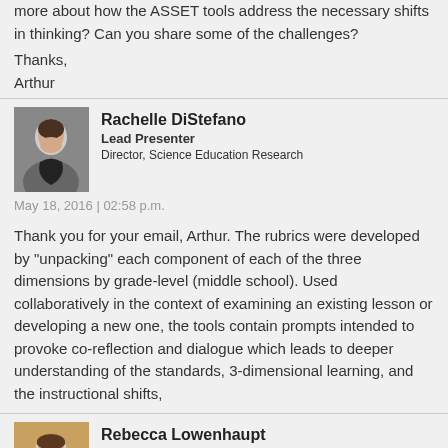more about how the ASSET tools address the necessary shifts in thinking? Can you share some of the challenges?
Thanks,
Arthur
Rachelle DiStefano
Lead Presenter
Director, Science Education Research
May 18, 2016 | 02:58 p.m.
Thank you for your email, Arthur. The rubrics were developed by "unpacking" each component of each of the three dimensions by grade-level (middle school). Used collaboratively in the context of examining an existing lesson or developing a new one, the tools contain prompts intended to provoke co-reflection and dialogue which leads to deeper understanding of the standards, 3-dimensional learning, and the instructional shifts,
Rebecca Lowenhaupt
Assistant Professor
Rebecca's video »
May 19, 2016 | 01:33 p.m.
I really appreciate your efforts to build collaborative opportunities